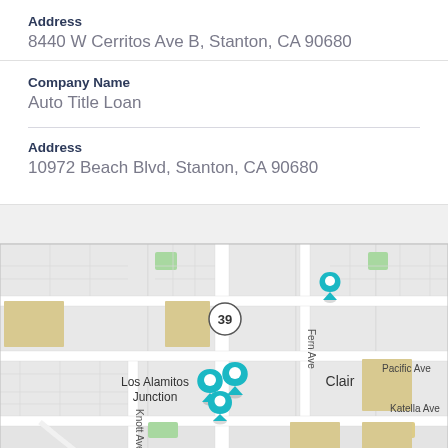Address
8440 W Cerritos Ave B, Stanton, CA 90680
Company Name
Auto Title Loan
Address
10972 Beach Blvd, Stanton, CA 90680
[Figure (map): Street map showing Los Alamitos Junction and Clair area in Stanton, CA with three teal location pin markers. Map shows streets including Knott Ave, Fern Ave, Katella Ave, Pacific Ave, Joyzelle Dr. Route 39 marker visible. Three clustered pins near Los Alamitos Junction area and one pin near Fern Ave.]